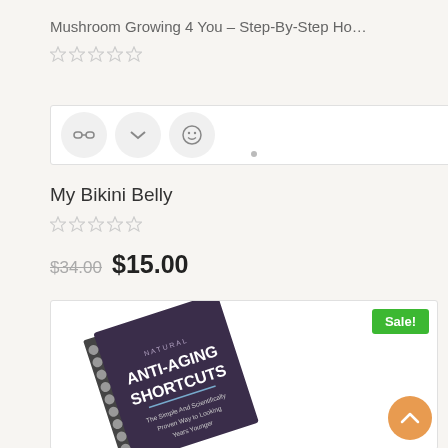Mushroom Growing 4 You – Step-By-Step Ho…
[Figure (other): Star rating row (empty stars) for Mushroom Growing product]
[Figure (screenshot): Product icon/action bar showing three circular icon buttons and a dot indicator]
My Bikini Belly
[Figure (other): Star rating row (empty stars) for My Bikini Belly product]
$34.00  $15.00
[Figure (photo): Book cover for Natural Anti-Aging Shortcuts – The Simple And Scientifically Proven Way to Looking Years Younger, dark purple spiral-bound notebook with Sale! badge]